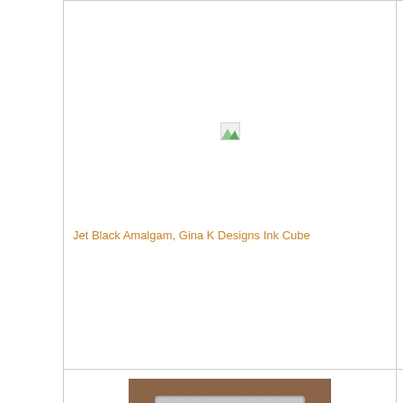[Figure (photo): Broken image placeholder - top left cell (partial, cut off at top)]
[Figure (photo): Broken image placeholder - top right cell (partial, cut off at top)]
[Figure (photo): Broken image placeholder for Jet Black Amalgam, Gina K Designs Ink Cube]
Jet Black Amalgam, Gina K Designs Ink Cube
[Figure (photo): Broken image placeholder for Clear Acrylic Block 1.25" X 3.5" Rectangle, Catherine Pooler]
Clear Acrylic Block 1.25" X 3.5" Rectangle, Catherine Pooler
[Figure (photo): Product photo of Clear Acrylic Block 3.25" X 4.25" Rectangle, Catherine Pooler - clear gridded acrylic block on wood surface]
Clear Acrylic Block 3.25" X 4.25" Rectangle, Catherine Pooler
[Figure (photo): Broken image placeholder for 5 Pack, Art Impressions Clear Acrylic Blocks]
5 Pack, Art Impressions Clear Acrylic Blocks
[Figure (photo): Product photo of Precision Press Advance Acrylic Stamping Block, We R Memory Keepers]
Precision Press Advance Acrylic Stamping Block, We R Memory Keepers
[Figure (photo): Broken image placeholder for Mini MISTI Laser Etched Stamping Tool (6-1/8 X 7), My Sweet Petunia]
Mini MISTI Laser Etched Stamping Tool (6-1/8 X 7), My Sweet Petunia